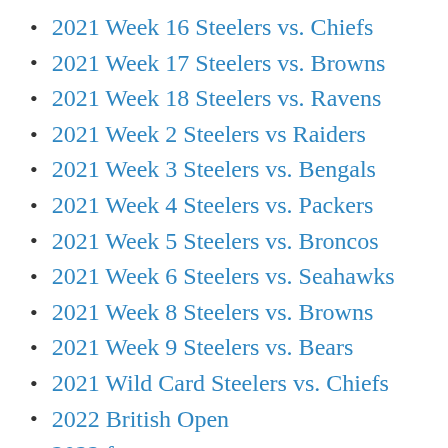2021 Week 16 Steelers vs. Chiefs
2021 Week 17 Steelers vs. Browns
2021 Week 18 Steelers vs. Ravens
2021 Week 2 Steelers vs Raiders
2021 Week 3 Steelers vs. Bengals
2021 Week 4 Steelers vs. Packers
2021 Week 5 Steelers vs. Broncos
2021 Week 6 Steelers vs. Seahawks
2021 Week 8 Steelers vs. Browns
2021 Week 9 Steelers vs. Bears
2021 Wild Card Steelers vs. Chiefs
2022 British Open
2022 free agency
2022 Masters
2022 Mock Draft
2022 NBA Draft